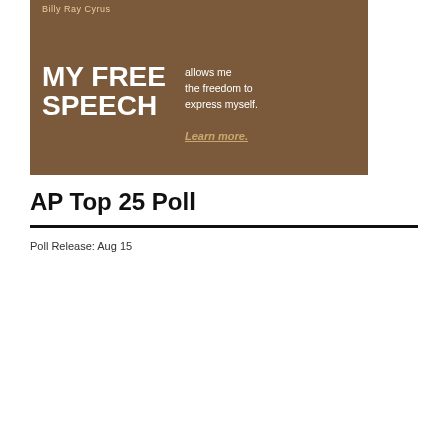[Figure (photo): Advertisement featuring Billy Ray Cyrus with text 'MY FREE SPEECH allows me the freedom to express myself. Learn more.']
AP Top 25 Poll
Poll Release: Aug 15
| Rank | Trend | Team |
| --- | --- | --- |
| 1 | - | Alabama |
| 2 | - | Ohio State |
| 3 | - | Georgia |